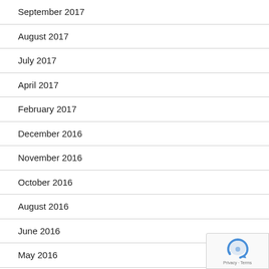September 2017
August 2017
July 2017
April 2017
February 2017
December 2016
November 2016
October 2016
August 2016
June 2016
May 2016